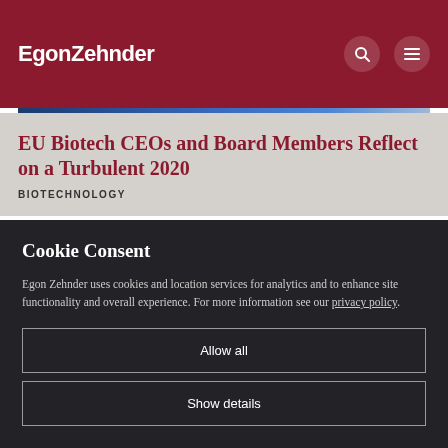EgonZehnder
EU Biotech CEOs and Board Members Reflect on a Turbulent 2020
BIOTECHNOLOGY
Cookie Consent
Egon Zehnder uses cookies and location services for analytics and to enhance site functionality and overall experience. For more information see our privacy policy.
Allow all
Show details